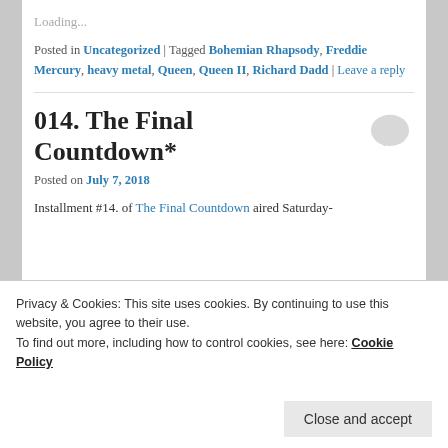Loading...
Posted in Uncategorized | Tagged Bohemian Rhapsody, Freddie Mercury, heavy metal, Queen, Queen II, Richard Dadd | Leave a reply
014. The Final Countdown*
Posted on July 7, 2018
Installment #14. of The Final Countdown aired Saturday-
Privacy & Cookies: This site uses cookies. By continuing to use this website, you agree to their use.
To find out more, including how to control cookies, see here: Cookie Policy
Close and accept